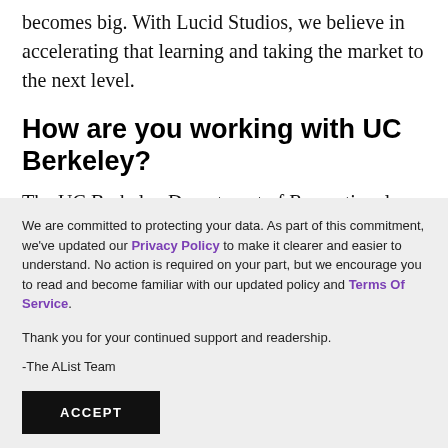resources, then it will take forever until the market becomes big. With Lucid Studios, we believe in accelerating that learning and taking the market to the next level.
How are you working with UC Berkeley?
The UC Berkeley Department of Recreational Sports is
We are committed to protecting your data. As part of this commitment, we've updated our Privacy Policy to make it clearer and easier to understand. No action is required on your part, but we encourage you to read and become familiar with our updated policy and Terms Of Service.
Thank you for your continued support and readership.
-The AList Team
ACCEPT